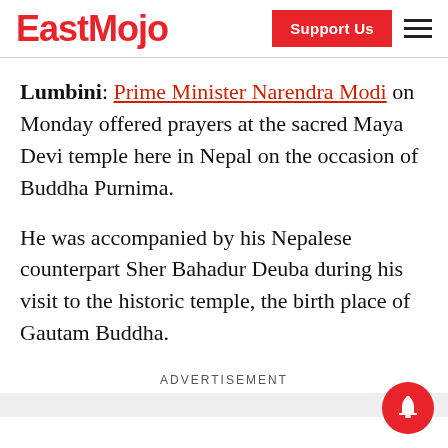EastMojo — Support Us
Lumbini: Prime Minister Narendra Modi on Monday offered prayers at the sacred Maya Devi temple here in Nepal on the occasion of Buddha Purnima.
He was accompanied by his Nepalese counterpart Sher Bahadur Deuba during his visit to the historic temple, the birth place of Gautam Buddha.
ADVERTISEMENT